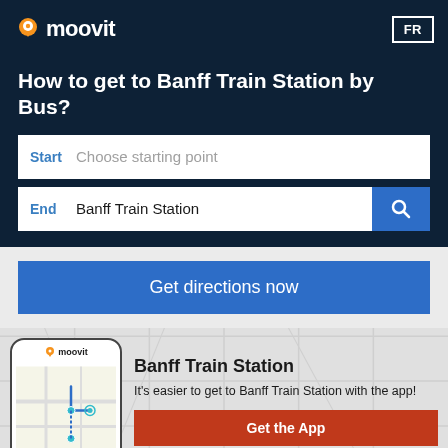[Figure (logo): Moovit logo with orange map pin icon and white text on dark navy background, with FR language toggle button]
How to get to Banff Train Station by Bus?
Start  Choose starting point
End  Banff Train Station
Get directions now
[Figure (screenshot): Phone mockup showing Moovit app with route map, alongside text: Banff Train Station... It's easier to get to Banff Train Station with the app! and a Get the App button]
It's easier to get to Banff Train Station with the app!
Get the App